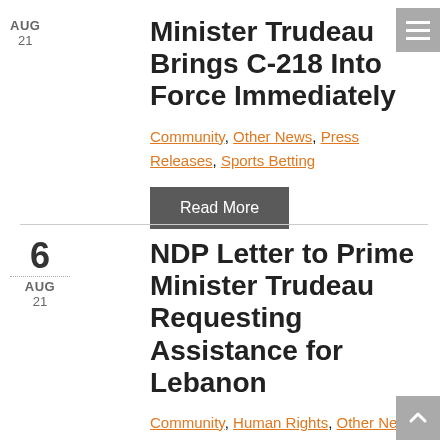Minister Trudeau Brings C-218 Into Force Immediately
Community, Other News, Press Releases, Sports Betting
Read More
NDP Letter to Prime Minister Trudeau Requesting Assistance for Lebanon
Community, Human Rights, Other News
Read More